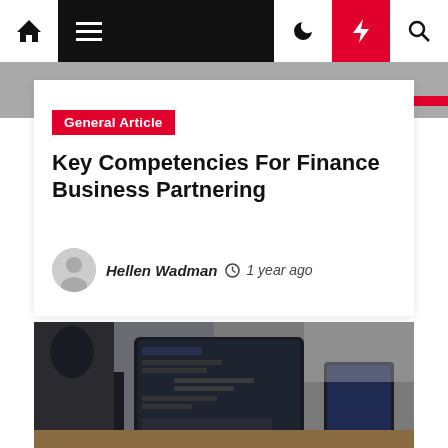Navigation bar with home, menu, dark mode, lightning, search icons
General Article
Key Competencies For Finance Business Partnering
Hellen Wadman  1 year ago
[Figure (photo): Photo of a person sitting at a desk with a laptop displaying a chat or messaging interface, and a tablet visible on the right side. Office/cafe environment with blurred background.]